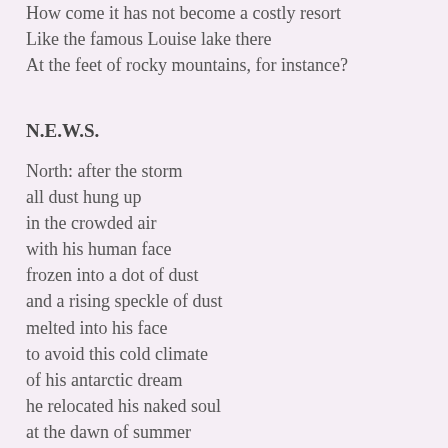How come it has not become a costly resort
Like the famous Louise lake there
At the feet of rocky mountains, for instance?
N.E.W.S.
North: after the storm
all dust hung up
in the crowded air
with his human face
frozen into a dot of dust
and a rising speckle of dust
melted into his face
to avoid this cold climate
of his antarctic dream
he relocated his naked soul
at the dawn of summer
East: in her beehive-like room
so small that a yawning stretch
would readily awaken